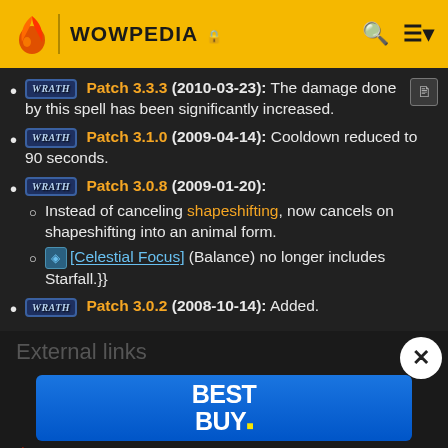WOWPEDIA
Patch 3.3.3 (2010-03-23): The damage done by this spell has been significantly increased.
Patch 3.1.0 (2009-04-14): Cooldown reduced to 90 seconds.
Patch 3.0.8 (2009-01-20):
Instead of canceling shapeshifting, now cancels on shapeshifting into an animal form.
[Celestial Focus] (Balance) no longer includes Starfall.}}
Patch 3.0.2 (2008-10-14): Added.
External links
[Figure (logo): Best Buy advertisement banner]
Wowhead